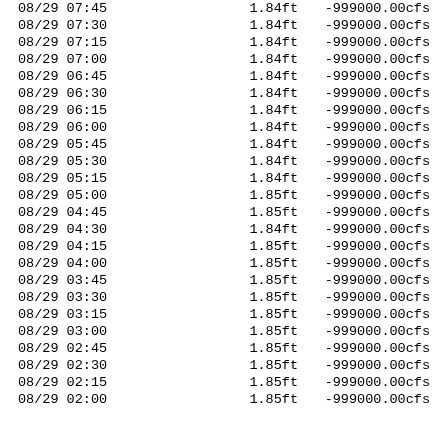| Date/Time | Stage | Flow |
| --- | --- | --- |
| 08/29 07:45 | 1.84ft | -999000.00cfs |
| 08/29 07:30 | 1.84ft | -999000.00cfs |
| 08/29 07:15 | 1.84ft | -999000.00cfs |
| 08/29 07:00 | 1.84ft | -999000.00cfs |
| 08/29 06:45 | 1.84ft | -999000.00cfs |
| 08/29 06:30 | 1.84ft | -999000.00cfs |
| 08/29 06:15 | 1.84ft | -999000.00cfs |
| 08/29 06:00 | 1.84ft | -999000.00cfs |
| 08/29 05:45 | 1.84ft | -999000.00cfs |
| 08/29 05:30 | 1.84ft | -999000.00cfs |
| 08/29 05:15 | 1.84ft | -999000.00cfs |
| 08/29 05:00 | 1.85ft | -999000.00cfs |
| 08/29 04:45 | 1.85ft | -999000.00cfs |
| 08/29 04:30 | 1.84ft | -999000.00cfs |
| 08/29 04:15 | 1.85ft | -999000.00cfs |
| 08/29 04:00 | 1.85ft | -999000.00cfs |
| 08/29 03:45 | 1.85ft | -999000.00cfs |
| 08/29 03:30 | 1.85ft | -999000.00cfs |
| 08/29 03:15 | 1.85ft | -999000.00cfs |
| 08/29 03:00 | 1.85ft | -999000.00cfs |
| 08/29 02:45 | 1.85ft | -999000.00cfs |
| 08/29 02:30 | 1.85ft | -999000.00cfs |
| 08/29 02:15 | 1.85ft | -999000.00cfs |
| 08/29 02:00 | 1.85ft | -999000.00cfs |